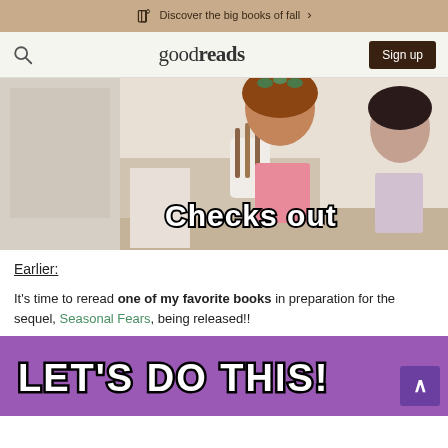Discover the big books of fall >
[Figure (logo): Goodreads navigation bar with search icon, goodreads logo, and Sign up button]
[Figure (photo): Two women in a kitchen scene with text overlay reading 'Checks out']
Earlier:
It's time to reread one of my favorite books in preparation for the sequel, Seasonal Fears, being released!!
[Figure (photo): Purple background with bold text 'LET'S DO THIS!' and a scroll-to-top button]